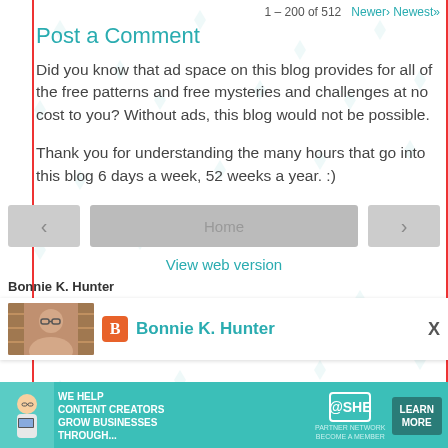1 – 200 of 512   Newer› Newest»
Post a Comment
Did you know that ad space on this blog provides for all of the free patterns and free mysteries and challenges at no cost to you? Without ads, this blog would not be possible.

Thank you for understanding the many hours that go into this blog 6 days a week, 52 weeks a year. :)
Home
View web version
Bonnie K. Hunter
Bonnie K. Hunter
[Figure (photo): Profile photo of Bonnie K. Hunter, a woman with glasses]
[Figure (infographic): SHE Partner Network advertisement banner: WE HELP CONTENT CREATORS GROW BUSINESSES THROUGH... LEARN MORE BECOME A MEMBER]